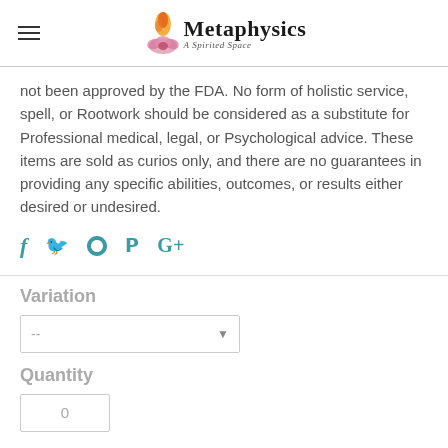Metaphysics — A Spirited Space
not been approved by the FDA. No form of holistic service, spell, or Rootwork should be considered as a substitute for Professional medical, legal, or Psychological advice. These items are sold as curios only, and there are no guarantees in providing any specific abilities, outcomes, or results either desired or undesired.
f  t  P  G+
Variation
-- (dropdown)
Quantity
0